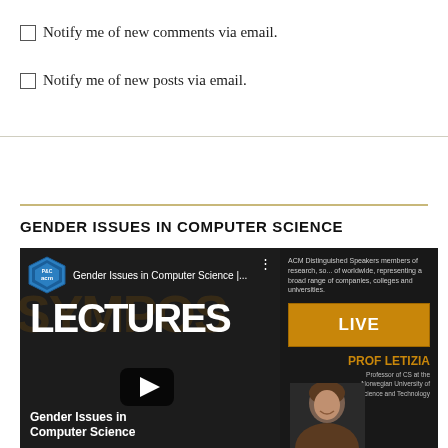Notify me of new comments via email.
Notify me of new posts via email.
GENDER ISSUES IN COMPUTER SCIENCE
[Figure (screenshot): YouTube video thumbnail for 'Gender Issues in Computer Science' ACM Distinguished Speaker lecture by Prof Letizia, showing the ACM logo, LECTURES text, a play button, a LIVE button, and a professor photo on the right panel.]